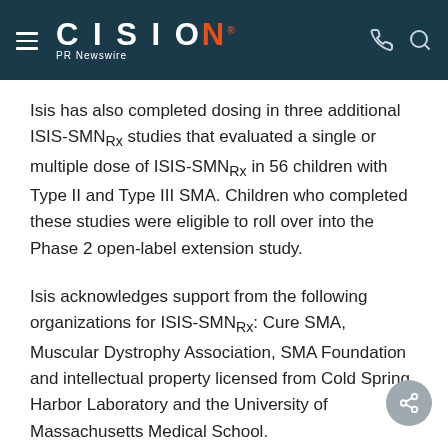CISION PR Newswire
Isis has also completed dosing in three additional ISIS-SMNRx studies that evaluated a single or multiple dose of ISIS-SMNRx in 56 children with Type II and Type III SMA.  Children who completed these studies were eligible to roll over into the Phase 2 open-label extension study.
Isis acknowledges support from the following organizations for ISIS-SMNRx: Cure SMA, Muscular Dystrophy Association, SMA Foundation and intellectual property licensed from Cold Spring Harbor Laboratory and the University of Massachusetts Medical School.